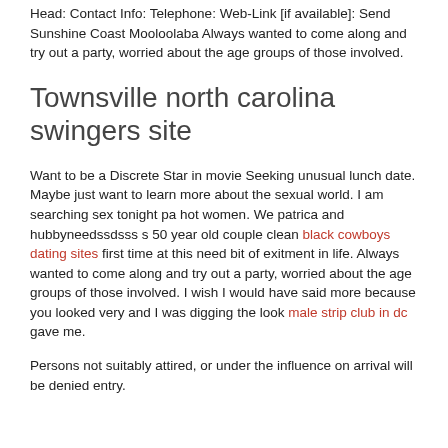Head: Contact Info: Telephone: Web-Link [if available]: Send Sunshine Coast Mooloolaba Always wanted to come along and try out a party, worried about the age groups of those involved.
Townsville north carolina swingers site
Want to be a Discrete Star in movie Seeking unusual lunch date. Maybe just want to learn more about the sexual world. I am searching sex tonight pa hot women. We patrica and hubbyneedssdsss s 50 year old couple clean black cowboys dating sites first time at this need bit of exitment in life. Always wanted to come along and try out a party, worried about the age groups of those involved. I wish I would have said more because you looked very and I was digging the look male strip club in dc gave me.
Persons not suitably attired, or under the influence on arrival will be denied entry.